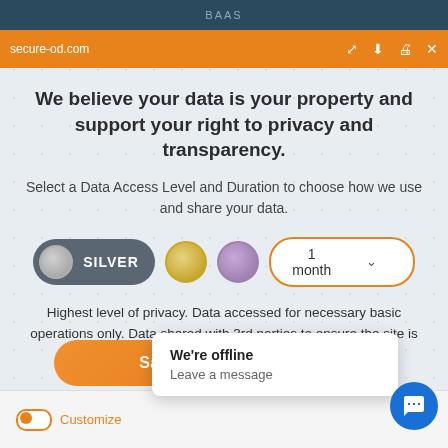BAAS
secure-od.com
We believe your data is your property and support your right to privacy and transparency.
Select a Data Access Level and Duration to choose how we use and share your data.
[Figure (infographic): Data access tier selector showing SILVER (active/selected), GOLD, and PLATINUM/PURPLE circles, plus a '1 month' duration dropdown]
Highest level of privacy. Data accessed for necessary basic operations only. Data shared with 3rd parties to ensure the site is secure and works on your device
Save my preferences
Customize
We're offline
Leave a message